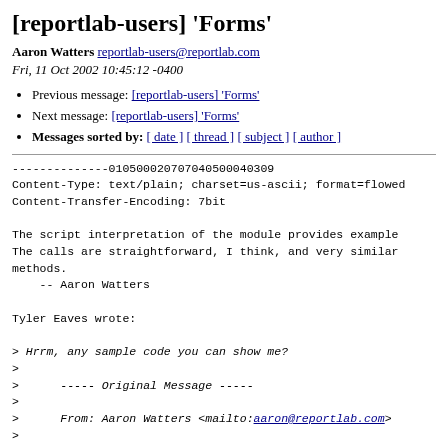[reportlab-users] 'Forms'
Aaron Watters reportlab-users@reportlab.com
Fri, 11 Oct 2002 10:45:12 -0400
Previous message: [reportlab-users] 'Forms'
Next message: [reportlab-users] 'Forms'
Messages sorted by: [ date ] [ thread ] [ subject ] [ author ]
--------------010500020707040500040309
Content-Type: text/plain; charset=us-ascii; format=flowed
Content-Transfer-Encoding: 7bit

The script interpretation of the module provides example
The calls are straightforward, I think, and very similar
methods.
    -- Aaron Watters

Tyler Eaves wrote:

> Hrrm, any sample code you can show me?
>
>      ----- Original Message -----
>
>      From: Aaron Watters <mailto:aaron@reportlab.com>